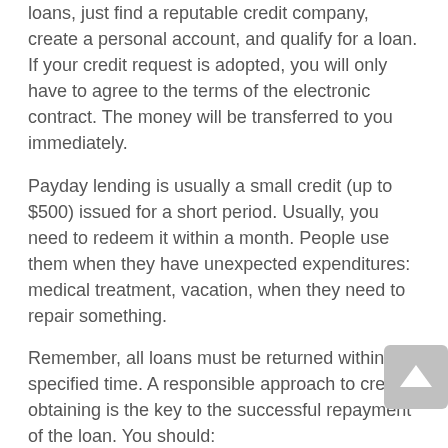loans, just find a reputable credit company, create a personal account, and qualify for a loan. If your credit request is adopted, you will only have to agree to the terms of the electronic contract. The money will be transferred to you immediately.
Payday lending is usually a small credit (up to $500) issued for a short period. Usually, you need to redeem it within a month. People use them when they have unexpected expenditures: medical treatment, vacation, when they need to repair something.
Remember, all loans must be returned within a specified time. A responsible approach to credit obtaining is the key to the successful repayment of the loan. You should:
Assess your financial condition before you take a loan: will you be able to pay off the debt within a specified time?
Apply for cash loans online only if absolutely necessary,